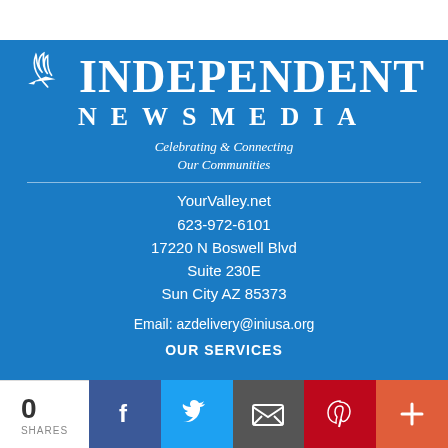[Figure (logo): Independent Newsmedia logo with stylized bird/wing graphic in white on blue background, with tagline 'Celebrating & Connecting Our Communities']
YourValley.net
623-972-6101
17220 N Boswell Blvd
Suite 230E
Sun City AZ 85373
Email: azdelivery@iniusa.org
OUR SERVICES
0
SHARES